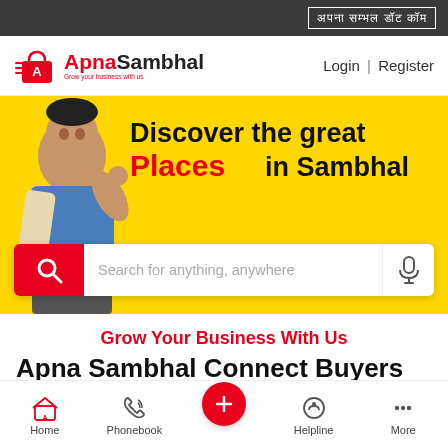अपना सम्भल डॉट कॉम
[Figure (logo): Apna Sambhal logo with shopping bag icon, red and black text, tagline 'Grow your business with us']
Login | Register
[Figure (illustration): Yellow hero banner with a person on the left and text: Discover the great Places in Sambhal, with a search bar below saying Search for anything, anywhere]
Grow Your Business With Us
Apna Sambhal Connect Buyers to the
Home  Phonebook  +  Helpline  More